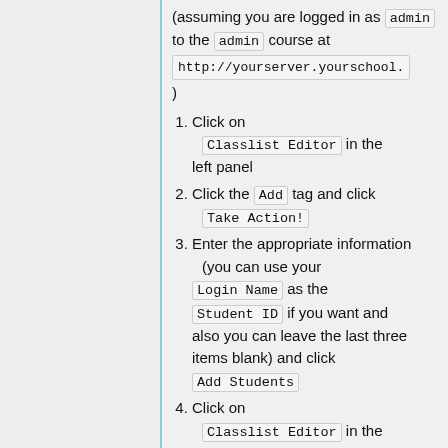(assuming you are logged in as admin to the admin course at http://yourserver.yourschool. )
1. Click on Classlist Editor in the left panel
2. Click the Add tag and click Take Action!
3. Enter the appropriate information (you can use your Login Name as the Student ID if you want and also you can leave the last three items blank) and click Add Students
4. Click on Classlist Editor in the left panel again